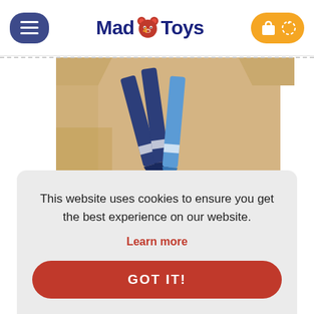[Figure (logo): Mad4Toys website header with hamburger menu on left, Mad4Toys logo in center, cart/loading icon on right]
[Figure (photo): Product image showing crayons or colored pencils in a box, partially visible]
This website uses cookies to ensure you get the best experience on our website.
Learn more
GOT IT!